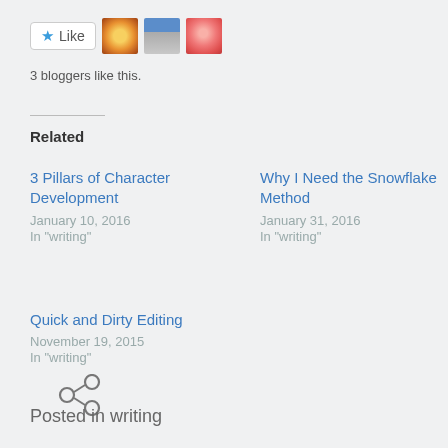[Figure (other): Like button with star icon and three blogger avatar thumbnails (flower, man with hat, pink rose)]
3 bloggers like this.
Related
3 Pillars of Character Development
January 10, 2016
In "writing"
Why I Need the Snowflake Method
January 31, 2016
In "writing"
Quick and Dirty Editing
November 19, 2015
In "writing"
[Figure (illustration): Share/link chain icon]
Posted in writing